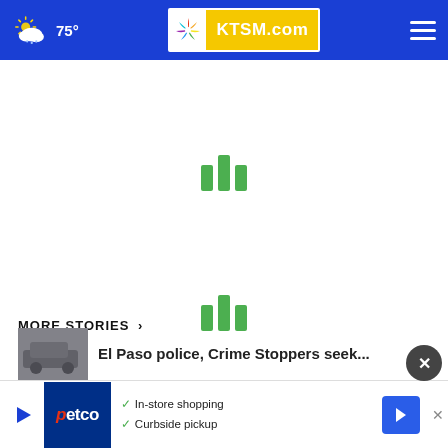75° KTSM.com
[Figure (infographic): Green loading bars spinner indicator (3 bars of different heights), appearing twice on the page]
MORE STORIES ›
El Paso police, Crime Stoppers seek...
[Figure (infographic): Petco advertisement banner: In-store shopping, Curbside pickup]